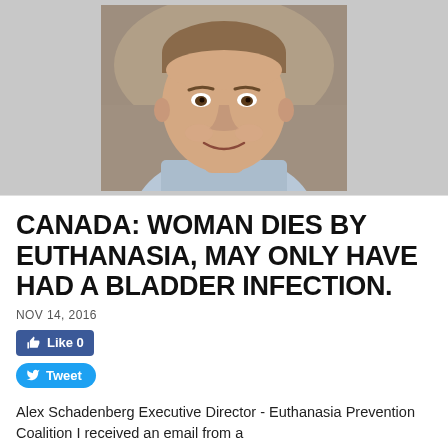[Figure (photo): Headshot photo of Alex Schadenberg, a middle-aged man smiling, wearing a light blue checkered shirt, photographed indoors against a blurred background.]
CANADA: WOMAN DIES BY EUTHANASIA, MAY ONLY HAVE HAD A BLADDER INFECTION.
NOV 14, 2016
Like 0
Tweet
Alex Schadenberg Executive Director - Euthanasia Prevention Coalition I received an email from a